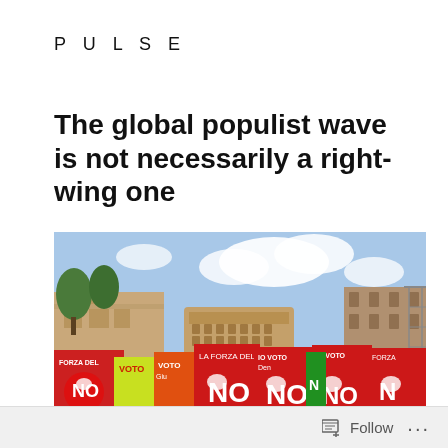PULSE
The global populist wave is not necessarily a right-wing one
[Figure (photo): Outdoor rally scene in Rome with the Colosseum visible in the background; protesters holding red, orange, and yellow banners reading 'FORZA DEL VOTO', 'IO VOTO', and large 'NO' signs with handprint logos]
Follow  ...